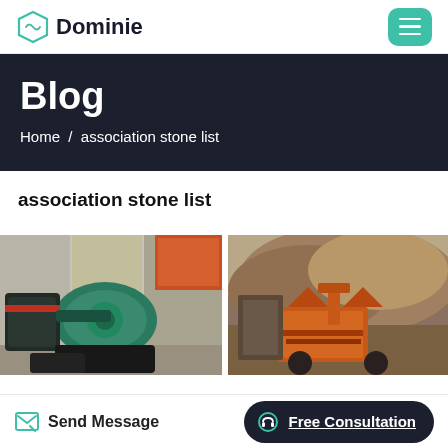Dominie
Blog
Home / association stone list
association stone list
[Figure (photo): Industrial machinery - green/teal colored crusher or mill equipment in a factory setting]
[Figure (photo): Outdoor quarry or mining site with orange crusher equipment and rock pile in background]
Send Message | Free Consultation